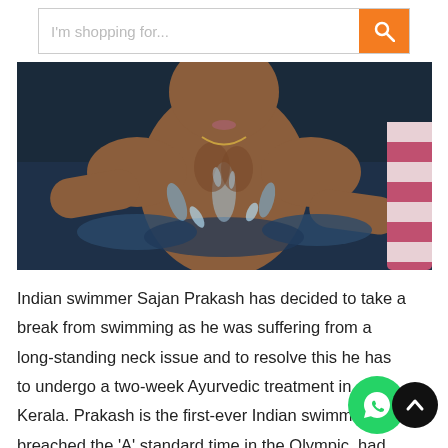I'm shopping for...
[Figure (photo): Indian swimmer Sajan Prakash emerging from water, wet body, hands on hips, pool lane divider visible on right]
Indian swimmer Sajan Prakash has decided to take a break from swimming as he was suffering from a long-standing neck issue and to resolve this he has to undergo a two-week Ayurvedic treatment in Kerala. Prakash is the first-ever Indian swimmer who breached the 'A' standard time in the Olympic. had suffered from a slipped disc in 2019 due t. which he was experiencing pain towards his left.